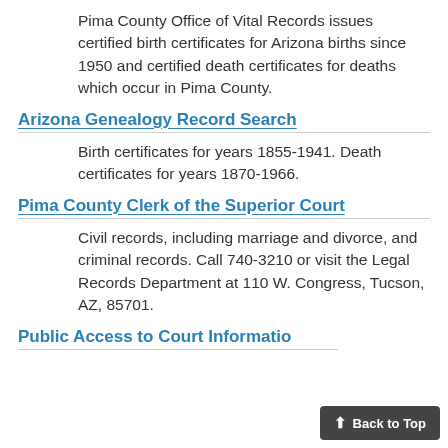Pima County Office of Vital Records issues certified birth certificates for Arizona births since 1950 and certified death certificates for deaths which occur in Pima County.
Arizona Genealogy Record Search
Birth certificates for years 1855-1941. Death certificates for years 1870-1966.
Pima County Clerk of the Superior Court
Civil records, including marriage and divorce, and criminal records. Call 740-3210 or visit the Legal Records Department at 110 W. Congress, Tucson, AZ, 85701.
Public Access to Court Informatio